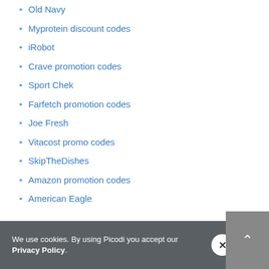Old Navy
Myprotein discount codes
iRobot
Crave promotion codes
Sport Chek
Farfetch promotion codes
Joe Fresh
Vitacost promo codes
SkipTheDishes
Amazon promotion codes
American Eagle
The Source coupon codes
Banggood
We use cookies. By using Picodi you accept our Privacy Policy.